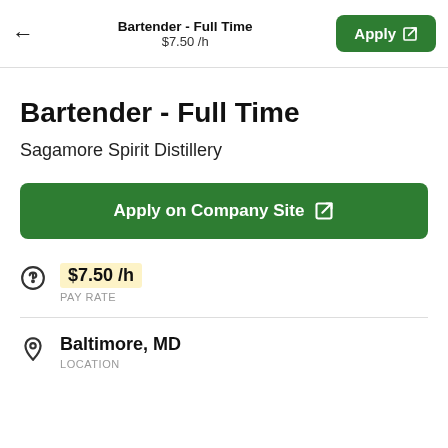Bartender - Full Time
$7.50 /h
Bartender - Full Time
Sagamore Spirit Distillery
Apply on Company Site
$7.50 /h
PAY RATE
Baltimore, MD
LOCATION